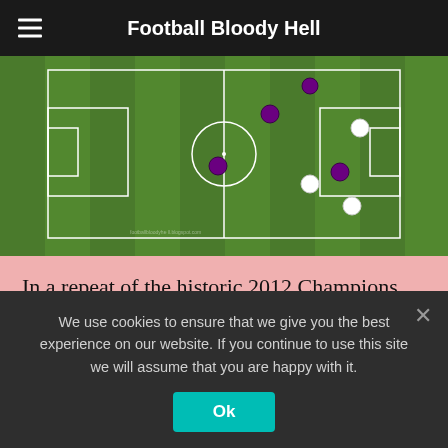Football Bloody Hell
[Figure (other): Football pitch tactical diagram showing player positions with purple and white dots on a green grass field. White lines mark penalty areas and center circle.]
In a repeat of the historic 2012 Champions League semi-final, Chelsea and Barcelona faced off in this last 16 encounter, with the game evenly poised following a 1-1 draw at Stamford Bridge. The away side were hoping for a repeat of the semi final 6 years ago, and came into this game confident of a result after dominating the game at Stamford
We use cookies to ensure that we give you the best experience on our website. If you continue to use this site we will assume that you are happy with it.